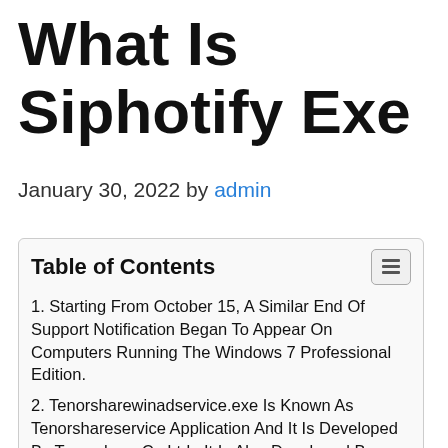What Is Siphotify Exe
January 30, 2022 by admin
Table of Contents
1. Starting From October 15, A Similar End Of Support Notification Began To Appear On Computers Running The Windows 7 Professional Edition.
2. Tenorsharewinadservice.exe Is Known As Tenorshareservice Application And It Is Developed By Tenorshare Co,Ltd , It Is Also Developed By.
3. These Are Bitdefender Files That Contain The Definitions Or Signatures Of Malware, They're Like Rules That Decides Whether A File Is Good Or...